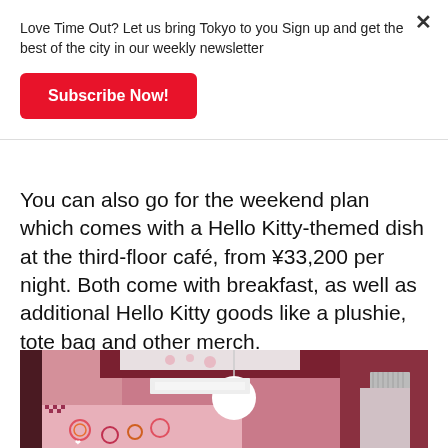Love Time Out? Let us bring Tokyo to you Sign up and get the best of the city in our weekly newsletter
Subscribe Now!
You can also go for the weekend plan which comes with a Hello Kitty-themed dish at the third-floor café, from ¥33,200 per night. Both come with breakfast, as well as additional Hello Kitty goods like a plushie, tote bag and other merch.
[Figure (photo): Hello Kitty themed hotel room interior with pink walls, decorative Hello Kitty wallpaper, a flower-shaped white pendant light, dark red ceiling panels, and a ventilation grille on the right.]